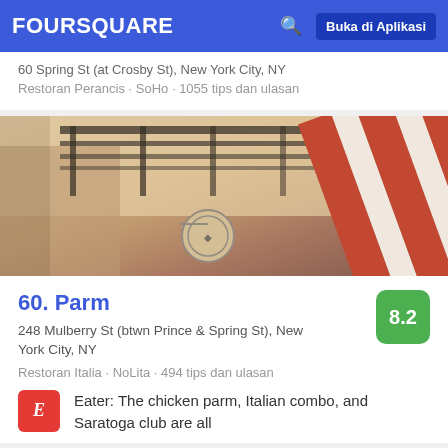FOURSQUARE   Buka di Aplikasi
60 Spring St (at Crosby St), New York City, NY
Restoran Perancis · SoHo · 1055 tips dan ulasan
[Figure (photo): Exterior street photo showing fire escapes on a building facade and a large red and white striped awning/flag, sepia-toned vintage style]
60. Parm
248 Mulberry St (btwn Prince & Spring St), New York City, NY
Restoran Italia · NoLita · 494 tips dan ulasan
Eater: The chicken parm, Italian combo, and Saratoga club are all